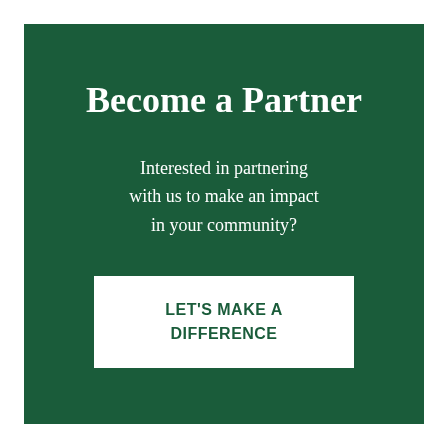Become a Partner
Interested in partnering with us to make an impact in your community?
LET'S MAKE A DIFFERENCE